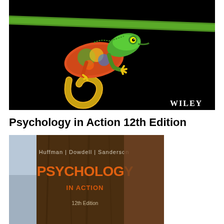[Figure (photo): Close-up photo of a colorful chameleon on a green branch against a black background, with a Wiley logo in the bottom right corner of the image.]
Psychology in Action 12th Edition
[Figure (photo): Book cover of Psychology in Action 12th Edition by Huffman, Dowdell, Sanderson. Shows a tree trunk background with orange title text and authors listed at top.]